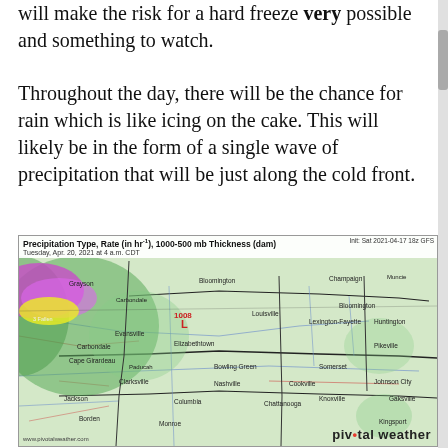will make the risk for a hard freeze very possible and something to watch.
Throughout the day, there will be the chance for rain which is like icing on the cake. This will likely be in the form of a single wave of precipitation that will be just along the cold front.
[Figure (map): Precipitation Type, Rate (in hr⁻¹), 1000-500 mb Thickness (dam) map showing Tuesday, Apr. 20, 2021 at 4 a.m. CDT. A weather map of the central and eastern United States including Kentucky, Tennessee, and surrounding states, showing precipitation types with colored shading (green for rain, pink/purple for snow, yellow for mixed), a low pressure system marked with red L and 1008 label, and city labels. Pivotal Weather watermark in bottom right.]